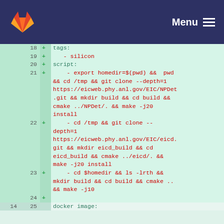GitLab — Menu
[Figure (screenshot): GitLab diff view showing lines 18-25 of a CI/CD YAML file with added lines (marked with +) containing tags, script, and docker image configuration commands.]